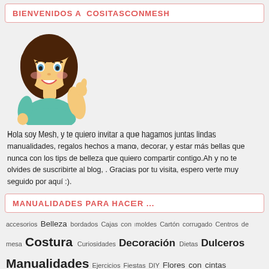BIENVENIDOS A  COSITASCONMESH
[Figure (illustration): Cartoon illustration of a smiling brunette girl giving a thumbs up, wearing a teal top]
Hola soy Mesh, y te quiero invitar a que hagamos juntas lindas manualidades, regalos hechos a mano, decorar, y estar más bellas que nunca con los tips de belleza que quiero compartir contigo.Ah y no te olvides de suscribirte al blog, . Gracias por tu visita, espero verte muy seguido por aquí :).
MANUALIDADES PARA HACER ...
accesorios Belleza bordados Cajas con moldes Cartón corrugado Centros de mesa Costura Curiosidades Decoración Dietas Dulceros Manualidades Ejercicios Fiestas DIY Flores con cintas Halloween Jabones tutorial llaveros hechos a mano Manicura Manualidades baby shower